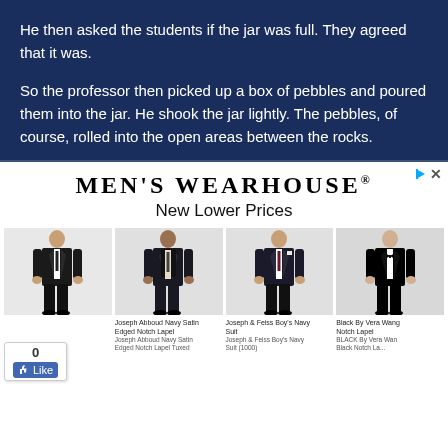He then asked the students if the jar was full. They agreed that it was.
So the professor then picked up a box of pebbles and poured them into the jar. He shook the jar lightly. The pebbles, of course, rolled into the open areas between the rocks.
[Figure (infographic): Men's Wearhouse advertisement showing New Lower Prices with four male models wearing suits and tuxedos. Products listed: Joseph & Feiss Boy's Black Suit (1001), Joseph Abboud Navy Satin Edged Notch Lapel, Joseph Abboud Navy Satin Edged Notch Lapel Tuxed, Joseph & Feiss Boy's Navy Suit, Joseph & Feiss Boy's Navy Suit (1000), Black By Vera Wang Notch Lapel, BLACK By Vera Wang Black Notch Lapel.]